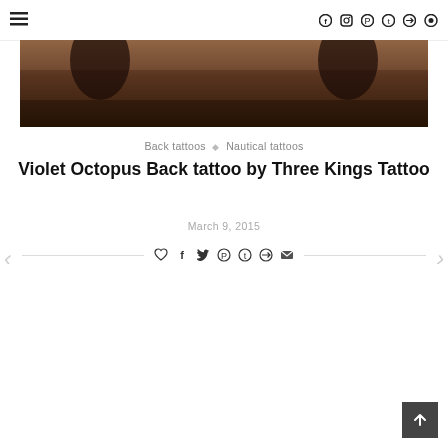Navigation bar with hamburger menu and social icons: f, instagram, pinterest, t, telegram, search
[Figure (photo): Partial view of a tattoo on a person's back, dark warm-toned photograph showing a tattoo design]
Back tattoos ◇ Nautical tattoos
Violet Octopus Back tattoo by Three Kings Tattoo
March 9, 2015
← [heart] [facebook] [twitter] [pinterest] [tumblr] [telegram] [email] →